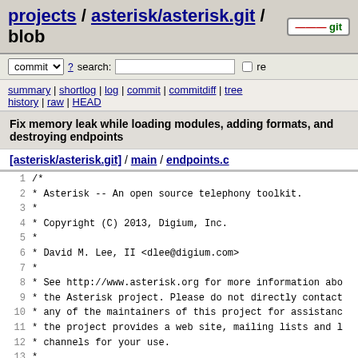projects / asterisk/asterisk.git / blob  +++ git
commit  ? search:  re
summary | shortlog | log | commit | commitdiff | tree history | raw | HEAD
Fix memory leak while loading modules, adding formats, and destroying endpoints
[asterisk/asterisk.git] / main / endpoints.c
1  /*
2   * Asterisk -- An open source telephony toolkit.
3   *
4   * Copyright (C) 2013, Digium, Inc.
5   *
6   * David M. Lee, II <dlee@digium.com>
7   *
8   * See http://www.asterisk.org for more information abo
9   * the Asterisk project. Please do not directly contact
10  * any of the maintainers of this project for assistanc
11  * the project provides a web site, mailing lists and l
12  * channels for your use.
13  *
14  * This program is free software, distributed under the
15  * the GNU General Public License Version 2. See the LI
16  * at the top of the source tree.
17  */
18